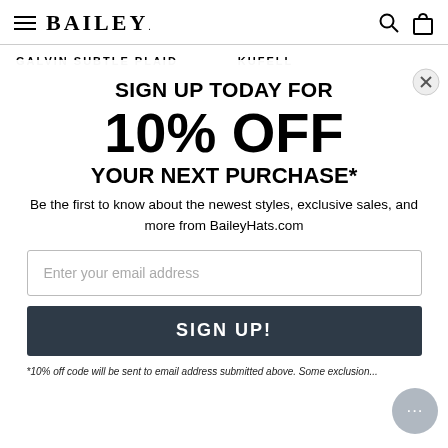BAILEY
GALVIN SUBTLE PLAID    KUFELL
SIGN UP TODAY FOR 10% OFF YOUR NEXT PURCHASE*
Be the first to know about the newest styles, exclusive sales, and more from BaileyHats.com
Enter your email address
SIGN UP!
*10% off code will be sent to email address submitted above. Some exclusion...